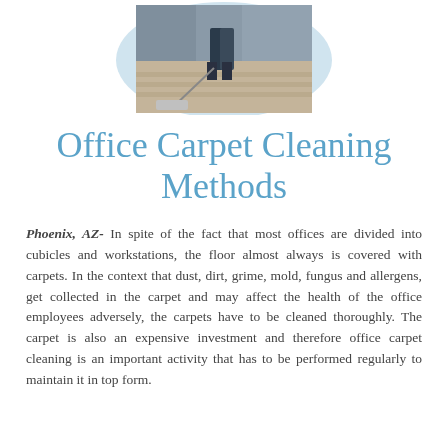[Figure (photo): A person using a carpet cleaning machine on an office carpet, viewed from behind. The photo is shown inside a circular light blue/grey background.]
Office Carpet Cleaning Methods
Phoenix, AZ- In spite of the fact that most offices are divided into cubicles and workstations, the floor almost always is covered with carpets. In the context that dust, dirt, grime, mold, fungus and allergens, get collected in the carpet and may affect the health of the office employees adversely, the carpets have to be cleaned thoroughly. The carpet is also an expensive investment and therefore office carpet cleaning is an important activity that has to be performed regularly to maintain it in top form.